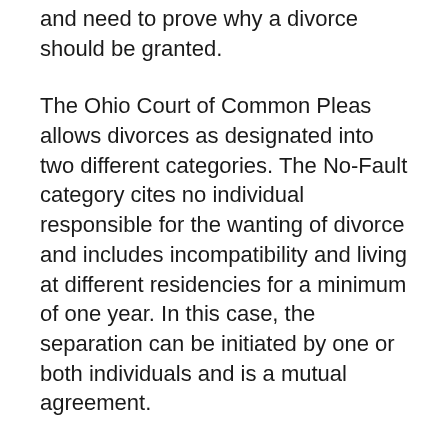and need to prove why a divorce should be granted.
The Ohio Court of Common Pleas allows divorces as designated into two different categories. The No-Fault category cites no individual responsible for the wanting of divorce and includes incompatibility and living at different residencies for a minimum of one year. In this case, the separation can be initiated by one or both individuals and is a mutual agreement.
The court will also allow divorces on the grounds of Fault where one individual is responsible for wanting the divorce. This category includes the existence of a living